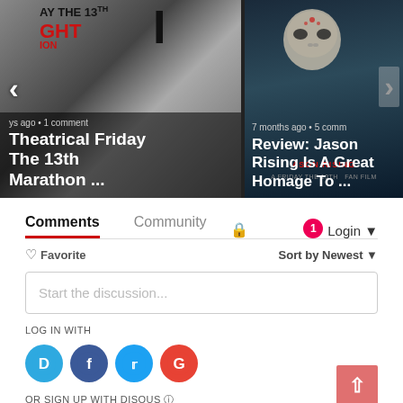[Figure (screenshot): Left carousel card: Friday the 13th theatrical marathon article thumbnail with movie poster art background, showing title text 'Theatrical Friday The 13th Marathon ...' and meta text '...ys ago • 1 comment']
[Figure (screenshot): Right carousel card: Jason Rising fan film review thumbnail with Jason Voorhees hockey mask on dark background, showing title 'Review: Jason Rising Is A Great Homage To ...' and meta '7 months ago • 5 comm']
Comments
Community
Login
♡ Favorite
Sort by Newest
Start the discussion...
LOG IN WITH
OR SIGN UP WITH DISOUS ?